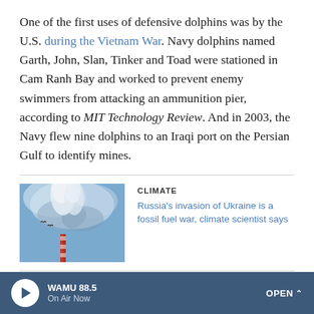One of the first uses of defensive dolphins was by the U.S. during the Vietnam War. Navy dolphins named Garth, John, Slan, Tinker and Toad were stationed in Cam Ranh Bay and worked to prevent enemy swimmers from attacking an ammunition pier, according to MIT Technology Review. And in 2003, the Navy flew nine dolphins to an Iraqi port on the Persian Gulf to identify mines.
[Figure (photo): Photo of industrial smokestacks emitting white smoke against a cloudy blue sky]
CLIMATE
Russia's invasion of Ukraine is a fossil fuel war, climate scientist says
Sutton, writing on his website this year, identified four countries that have marine-mammal programs: the U.S.,
WAMU 88.5 On Air Now OPEN